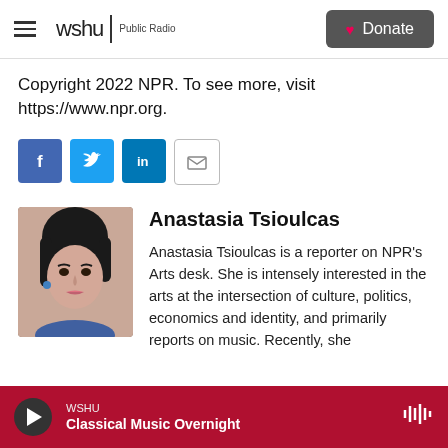wshu | Public Radio — Donate
Copyright 2022 NPR. To see more, visit https://www.npr.org.
[Figure (infographic): Social share buttons: Facebook, Twitter, LinkedIn, Email]
[Figure (photo): Headshot photo of Anastasia Tsioulcas]
Anastasia Tsioulcas
Anastasia Tsioulcas is a reporter on NPR's Arts desk. She is intensely interested in the arts at the intersection of culture, politics, economics and identity, and primarily reports on music. Recently, she has extensively covered gender issues...
WSHU — Classical Music Overnight